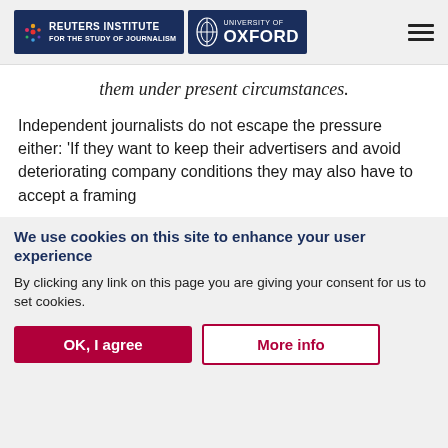Reuters Institute for the Study of Journalism | University of Oxford
them under present circumstances.
Independent journalists do not escape the pressure either: ‘If they want to keep their advertisers and avoid deteriorating company conditions they may also have to accept a framing
We use cookies on this site to enhance your user experience
By clicking any link on this page you are giving your consent for us to set cookies.
OK, I agree
More info